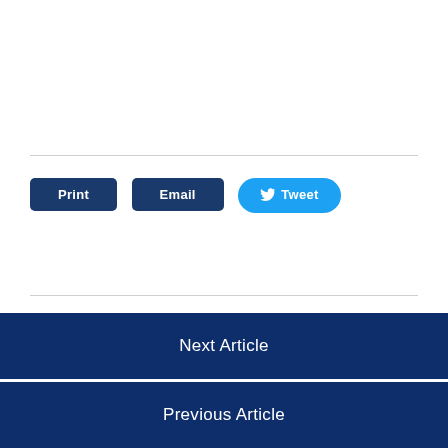[Figure (other): Print button (dark navy blue, rounded rectangle)]
[Figure (other): Email button (dark navy blue, rounded rectangle)]
[Figure (other): Tweet button (light blue, pill-shaped with Twitter bird icon)]
Next Article
Previous Article